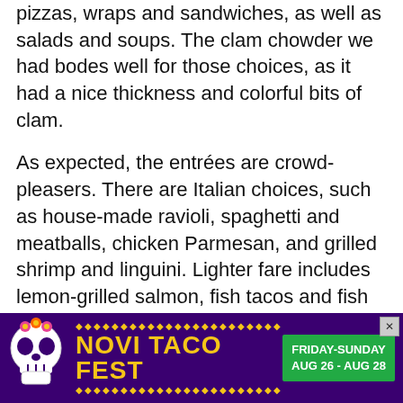pizzas, wraps and sandwiches, as well as salads and soups. The clam chowder we had bodes well for those choices, as it had a nice thickness and colorful bits of clam.
As expected, the entrées are crowd-pleasers. There are Italian choices, such as house-made ravioli, spaghetti and meatballs, chicken Parmesan, and grilled shrimp and linguini. Lighter fare includes lemon-grilled salmon, fish tacos and fish and chips. But many of the mains are heavier comfort foods, such as house-made meatloaf, an open-faced pot roast sandwich, fajitas, ribs, fried chicken and smoked chicken. Then there are the serious meats, including not just top sirloin, hickory-grilled New York strip, porterhouse and rib-eye, but filet mignon wrapped in smoked bacon!
We opted for a sampling by getting Tan's smoked barbecue
[Figure (infographic): Advertisement banner for Novi Taco Fest with a sugar skull graphic, gold diamond dot border, purple background, yellow 'NOVI TACO FEST' title text, and green date box showing FRIDAY-SUNDAY AUG 26 - AUG 28]